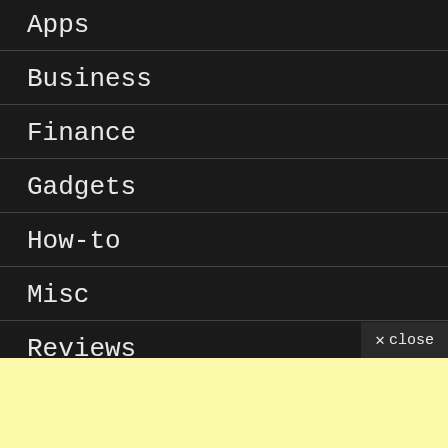Apps
Business
Finance
Gadgets
How-to
Misc
Reviews
Software
✕ close